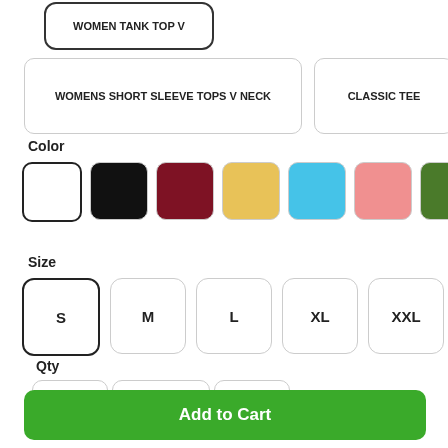WOMEN TANK TOP V
WOMENS SHORT SLEEVE TOPS V NECK
CLASSIC TEE
Color
[Figure (other): Color swatches: white (selected), black, dark red, yellow, sky blue, salmon, olive green]
Size
[Figure (other): Size buttons: S (selected), M, L, XL, XXL]
Qty
[Figure (other): Quantity selector: minus button, value 1, plus button]
Add to Cart